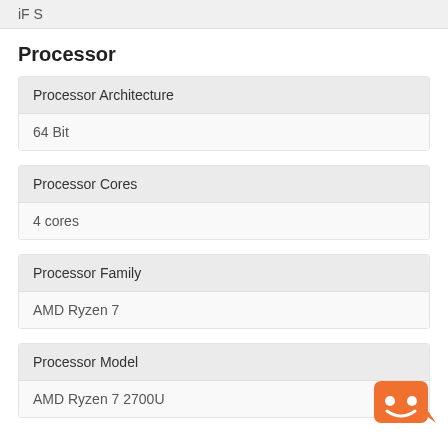iF S
Processor
| Processor Architecture |
| --- |
| 64 Bit |
| Processor Cores |
| --- |
| 4 cores |
| Processor Family |
| --- |
| AMD Ryzen 7 |
| Processor Model |
| --- |
| AMD Ryzen 7 2700U |